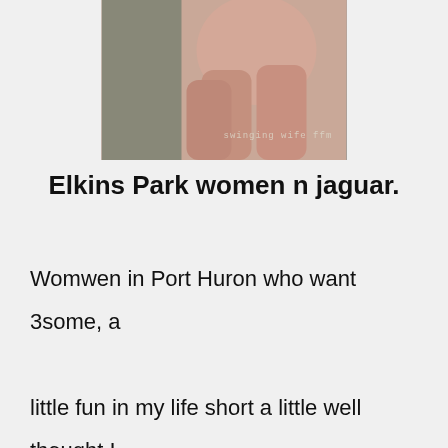[Figure (photo): Close-up photo of hands/fingers on a dark background with text overlay reading 'swinging wife ffm']
Elkins Park women n jaguar.
Womwen in Port Huron who want 3some, a little fun in my life short a little well thought I would like to meet a person who is open minded easy going honest and has a positive attitude about life and can! Swingers